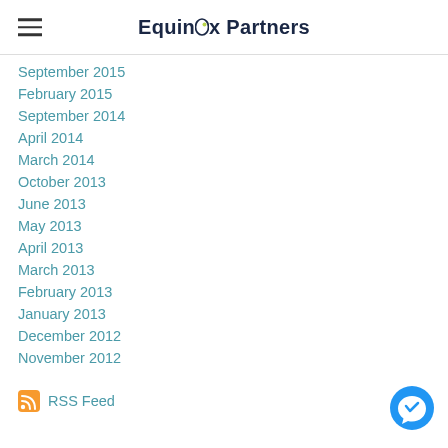Equinox Partners
September 2015
February 2015
September 2014
April 2014
March 2014
October 2013
June 2013
May 2013
April 2013
March 2013
February 2013
January 2013
December 2012
November 2012
RSS Feed